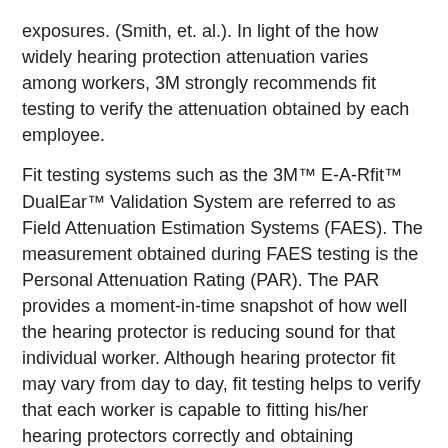exposures. (Smith, et. al.). In light of the how widely hearing protection attenuation varies among workers, 3M strongly recommends fit testing to verify the attenuation obtained by each employee.
Fit testing systems such as the 3M™ E-A-Rfit™ DualEar™ Validation System are referred to as Field Attenuation Estimation Systems (FAES). The measurement obtained during FAES testing is the Personal Attenuation Rating (PAR). The PAR provides a moment-in-time snapshot of how well the hearing protector is reducing sound for that individual worker. Although hearing protector fit may vary from day to day, fit testing helps to verify that each worker is capable to fitting his/her hearing protectors correctly and obtaining adequate attenuation and that the hearing protector is appropriate for the size and shape of the ear canal or head. Find out more about 3M™ E-A-Rfit™ by clicking here.
Some of the key benefits of HPD fit testing are:
Identifying at-risk employees who may not be obtaining adequate attenuation.